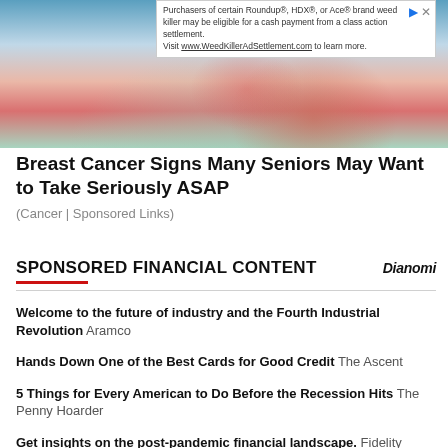[Figure (photo): Hero image showing a hand with red nails touching skin, teal background, with an advertisement banner overlay for weed killer class action settlement]
Breast Cancer Signs Many Seniors May Want to Take Seriously ASAP
(Cancer | Sponsored Links)
SPONSORED FINANCIAL CONTENT
Welcome to the future of industry and the Fourth Industrial Revolution Aramco
Hands Down One of the Best Cards for Good Credit The Ascent
5 Things for Every American to Do Before the Recession Hits The Penny Hoarder
Get insights on the post-pandemic financial landscape. Fidelity Investments